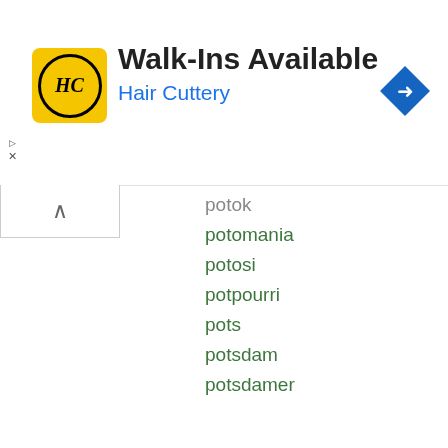[Figure (screenshot): Advertisement banner for Hair Cuttery: Walk-Ins Available with HC logo in yellow circle, navigation arrow icon on right]
potok
potomania
potosi
potpourri
pots
potsdam
potsdamer
Alternative searches for potoo:
Search for Definitions for potoo
Search for Antonyms for potoo
Search for Anagrams for potoo